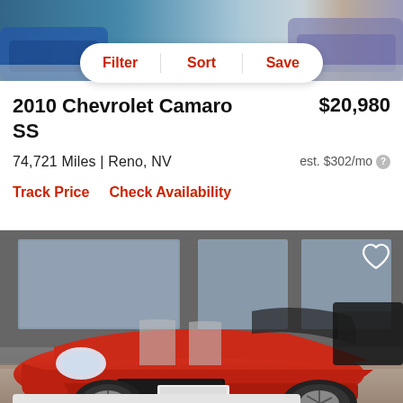[Figure (photo): Top partial car photo, cropped — blue/silver cars in background]
Filter | Sort | Save
2010 Chevrolet Camaro SS
$20,980
74,721 Miles | Reno, NV
est. $302/mo
Track Price    Check Availability
[Figure (photo): Red 2010 Chevrolet Camaro SS convertible with silver racing stripes, parked in a dealership showroom, photographed from front-left angle. Heart/favorite icon in top-right corner.]